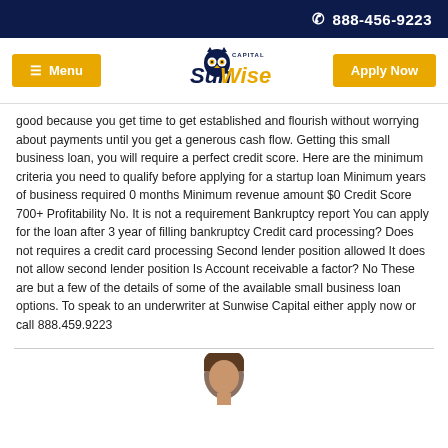☎ 888-456-9223
[Figure (logo): SunWise Capital logo with owl graphic, Menu button (yellow), and Apply Now button (yellow)]
good because you get time to get established and flourish without worrying about payments until you get a generous cash flow. Getting this small business loan, you will require a perfect credit score. Here are the minimum criteria you need to qualify before applying for a startup loan Minimum years of business required 0 months Minimum revenue amount $0 Credit Score 700+ Profitability No. It is not a requirement Bankruptcy report You can apply for the loan after 3 year of filling bankruptcy Credit card processing? Does not requires a credit card processing Second lender position allowed It does not allow second lender position Is Account receivable a factor? No These are but a few of the details of some of the available small business loan options. To speak to an underwriter at Sunwise Capital either apply now or call 888.459.9223
[Figure (photo): Partial photo of a person's head at the bottom of the page]